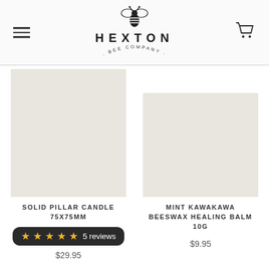HEXTON BEE COMPANY
[Figure (photo): Hexton Bee Company logo with bee illustration above brand name]
[Figure (photo): Product image placeholder for Solid Pillar Candle 75x75mm]
SOLID PILLAR CANDLE 75X75MM
★★★★★ 5 reviews
$29.95
[Figure (photo): Product image placeholder for Mint Kawakawa Beeswax Healing Balm 10G]
MINT KAWAKAWA BEESWAX HEALING BALM 10G
$9.95